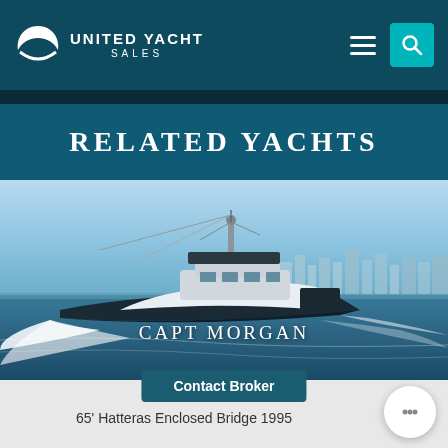UNITED YACHT SALES
RELATED YACHTS
[Figure (photo): Yacht named CAPT MORGAN speeding through water with city skyline in background]
CAPT MORGAN
Contact Broker
65' Hatteras Enclosed Bridge 1995